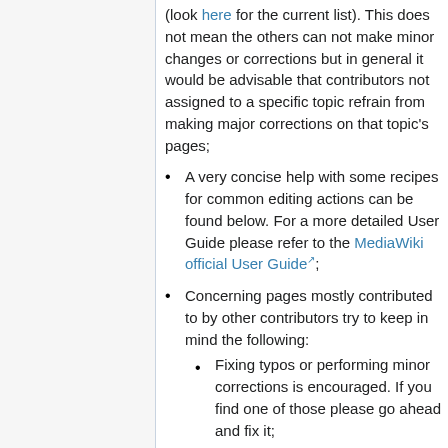(look here for the current list). This does not mean the others can not make minor changes or corrections but in general it would be advisable that contributors not assigned to a specific topic refrain from making major corrections on that topic's pages;
A very concise help with some recipes for common editing actions can be found below. For a more detailed User Guide please refer to the MediaWiki official User Guide;
Concerning pages mostly contributed to by other contributors try to keep in mind the following:
Fixing typos or performing minor corrections is encouraged. If you find one of those please go ahead and fix it;